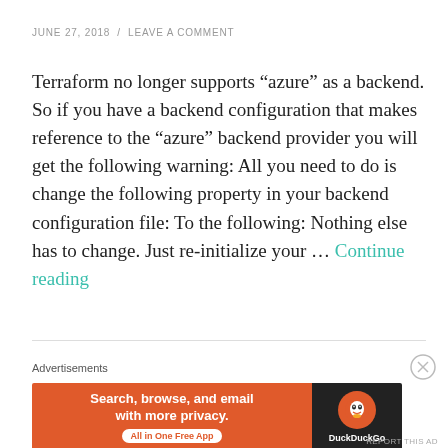JUNE 27, 2018 / LEAVE A COMMENT
Terraform no longer supports “azure” as a backend. So if you have a backend configuration that makes reference to the “azure” backend provider you will get the following warning: All you need to do is change the following property in your backend configuration file: To the following: Nothing else has to change. Just re-initialize your … Continue reading
Advertisements
[Figure (other): DuckDuckGo advertisement banner: orange left panel reading 'Search, browse, and email with more privacy. All in One Free App' and dark right panel with DuckDuckGo logo and brand name.]